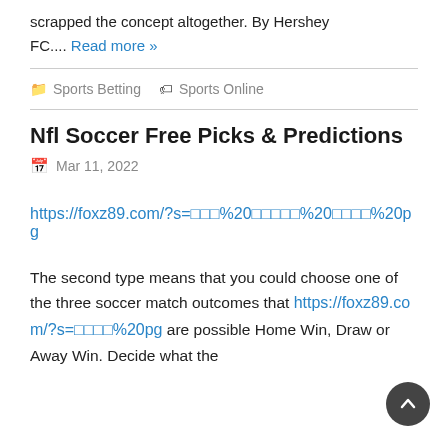scrapped the concept altogether. By Hershey FC.... Read more »
Sports Betting   Sports Online
Nfl Soccer Free Picks & Predictions
Mar 11, 2022
https://foxz89.com/?s=🏃%20🏃🏃🏃🏃%20🏃🏃🏃🏃%20pg
The second type means that you could choose one of the three soccer match outcomes that https://foxz89.com/?s=🏃🏃🏃🏃%20pg are possible Home Win, Draw or Away Win. Decide what the